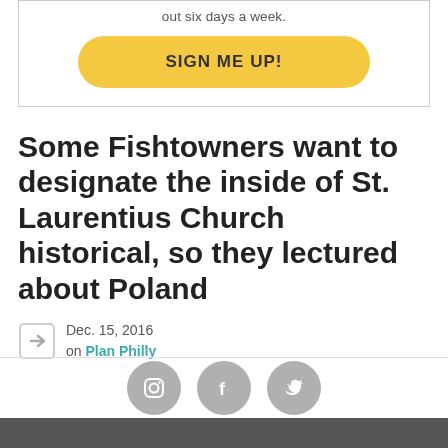out six days a week.
SIGN ME UP!
Some Fishtowners want to designate the inside of St. Laurentius Church historical, so they lectured about Poland
Dec. 15, 2016
on Plan Philly
[Figure (other): Social media icons: Instagram, Facebook, Twitter in grey circles]